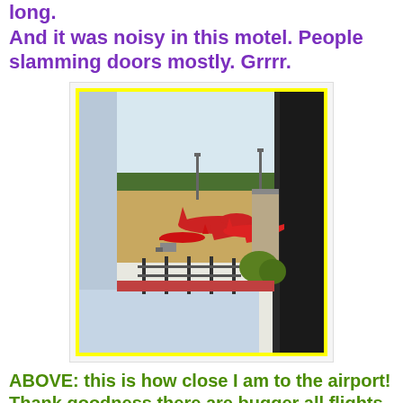long.
And it was noisy in this motel.  People slamming doors mostly.  Grrrr.
[Figure (photo): View from a motel window showing an airport tarmac with red Virgin Australia aircraft parked at gates, runway and terminal buildings visible, trees in background, taken through a window frame with dark curtain on right side.]
ABOVE: this is how close I am to the airport!
Thank goodness there are bugger all flights at this